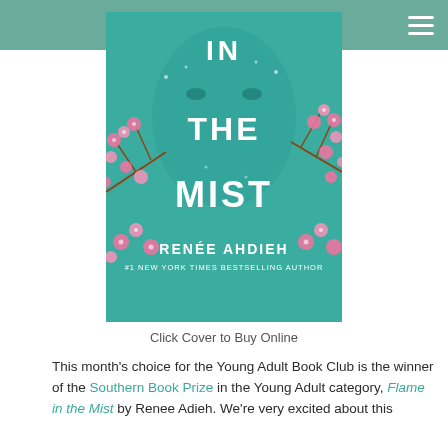[Figure (photo): Book cover of 'Flame in the Mist' by Renée Ahdieh. Teal/turquoise background with a face, cherry blossom branches, large white text reading 'IN THE MIST' and author name 'RENÉE AHDIEH' with '#1 NEW YORK TIMES BESTSELLING AUTHOR' below.]
Click Cover to Buy Online
This month's choice for the Young Adult Book Club is the winner of the Southern Book Prize in the Young Adult category, Flame in the Mist by Renee Adieh. We're very excited about this